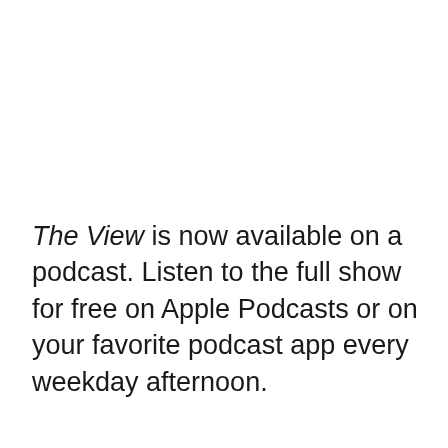The View is now available on a podcast. Listen to the full show for free on Apple Podcasts or on your favorite podcast app every weekday afternoon.